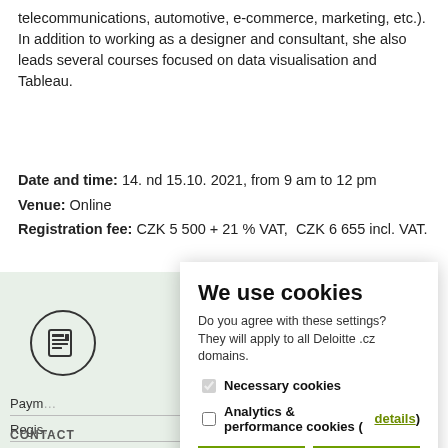telecommunications, automotive, e-commerce, marketing, etc.). In addition to working as a designer and consultant, she also leads several courses focused on data visualisation and Tableau.
Date and time: 14. nd 15.10. 2021, from 9 am to 12 pm
Venue: Online
Registration fee: CZK 5 500 + 21 % VAT,  CZK 6 655 incl. VAT.
[Figure (screenshot): Cookie consent dialog overlay on a Deloitte website. Contains title 'We use cookies', description text, checkboxes for Necessary cookies and Analytics & performance cookies, two green buttons 'I agree to all' and 'Only selected above', and a Cookie Notice link.]
Paym
Regis
Cance
CONTACT